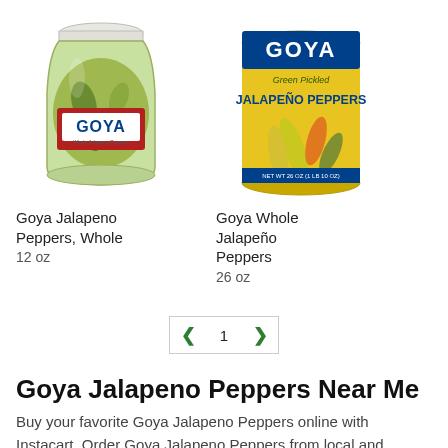[Figure (photo): Goya Jalapeno Peppers Whole in a glass jar product photo]
Goya Jalapeno Peppers, Whole
12 oz
[Figure (photo): Goya Whole Jalapeno Peppers Green Pickled in a can product photo]
Goya Whole Jalapeño Peppers
26 oz
< 1 >
Goya Jalapeno Peppers Near Me
Buy your favorite Goya Jalapeno Peppers online with Instacart. Order Goya Jalapeno Peppers from local and